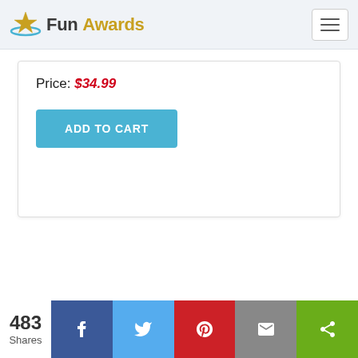Fun Awards
Price: $34.99
ADD TO CART
483 Shares